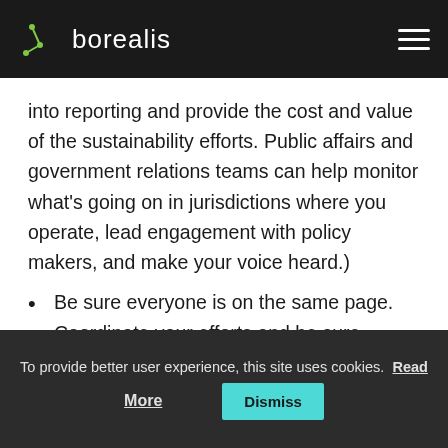borealis
into reporting and provide the cost and value of the sustainability efforts. Public affairs and government relations teams can help monitor what’s going on in jurisdictions where you operate, lead engagement with policy makers, and make your voice heard.)
Be sure everyone is on the same page. Coordinate your efforts and be sure there’s common understanding and agreement about
To provide better user experience, this site uses cookies. Read More  Dismiss